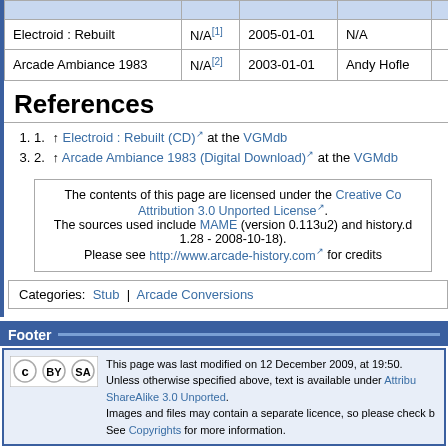|  |  |  |  |  |
| --- | --- | --- | --- | --- |
| Electroid : Rebuilt | N/A[1] | 2005-01-01 | N/A |  |
| Arcade Ambiance 1983 | N/A[2] | 2003-01-01 | Andy Hofle |  |
References
1. ↑ Electroid : Rebuilt (CD) at the VGMdb
2. ↑ Arcade Ambiance 1983 (Digital Download) at the VGMdb
The contents of this page are licensed under the Creative Commons Attribution 3.0 Unported License. The sources used include MAME (version 0.113u2) and history.dat (v 1.28 - 2008-10-18). Please see http://www.arcade-history.com for credits.
Categories: Stub | Arcade Conversions
Footer
This page was last modified on 12 December 2009, at 19:50. Unless otherwise specified above, text is available under Attribution-ShareAlike 3.0 Unported. Images and files may contain a separate licence, so please check before use. See Copyrights for more information.